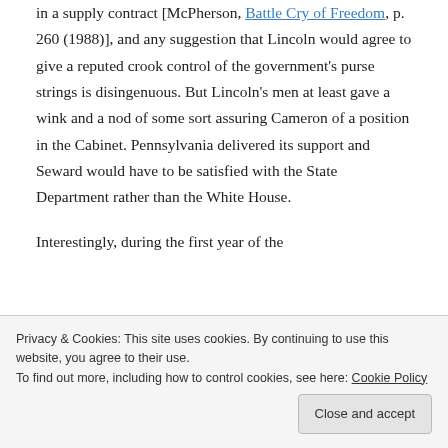in a supply contract [McPherson, Battle Cry of Freedom, p. 260 (1988)], and any suggestion that Lincoln would agree to give a reputed crook control of the government's purse strings is disingenuous. But Lincoln's men at least gave a wink and a nod of some sort assuring Cameron of a position in the Cabinet. Pennsylvania delivered its support and Seward would have to be satisfied with the State Department rather than the White House.
Interestingly, during the first year of the
Privacy & Cookies: This site uses cookies. By continuing to use this website, you agree to their use.
To find out more, including how to control cookies, see here: Cookie Policy